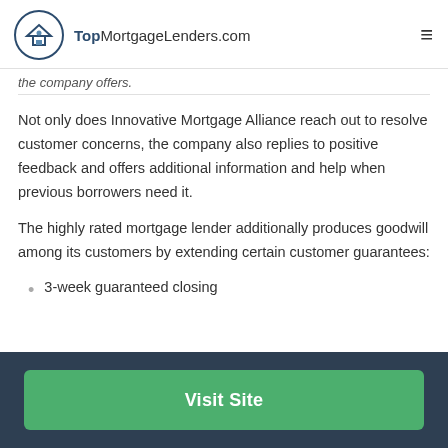TopMortgageLenders.com
the company offers.
Not only does Innovative Mortgage Alliance reach out to resolve customer concerns, the company also replies to positive feedback and offers additional information and help when previous borrowers need it.
The highly rated mortgage lender additionally produces goodwill among its customers by extending certain customer guarantees:
3-week guaranteed closing